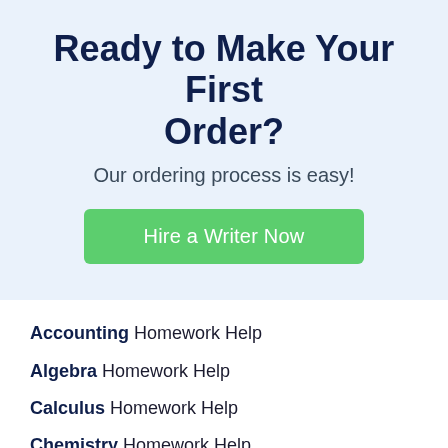Ready to Make Your First Order?
Our ordering process is easy!
[Figure (other): Green call-to-action button labeled 'Hire a Writer Now']
Accounting Homework Help
Algebra Homework Help
Calculus Homework Help
Chemistry Homework Help
College Homework Help